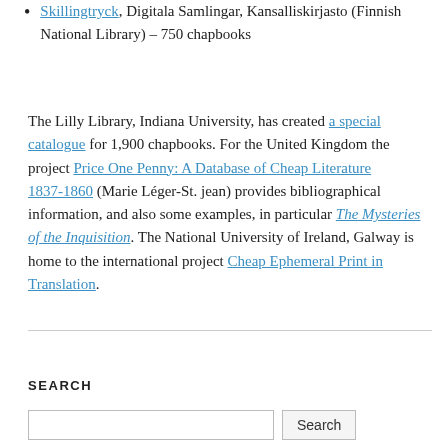Skillingtryck, Digitala Samlingar, Kansalliskirjasto (Finnish National Library) – 750 chapbooks
The Lilly Library, Indiana University, has created a special catalogue for 1,900 chapbooks. For the United Kingdom the project Price One Penny: A Database of Cheap Literature 1837-1860 (Marie Léger-St. jean) provides bibliographical information, and also some examples, in particular The Mysteries of the Inquisition. The National University of Ireland, Galway is home to the international project Cheap Ephemeral Print in Translation.
SEARCH